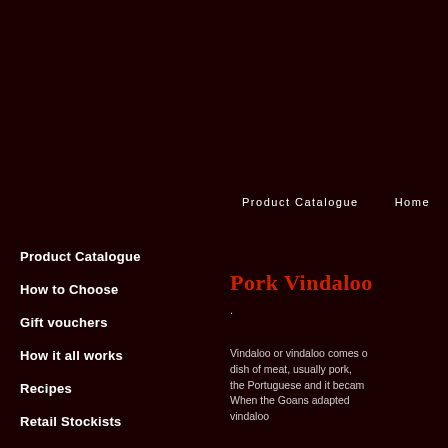Product Catalogue    Home
Product Catalogue
How to Choose
Gift vouchers
How it all works
Recipes
Retail Stockists
Live Demonstrations
Articles of Interest
Pork Vindaloo
.
Vindaloo or vindaloo comes from dish of meat, usually pork, the Portuguese and it became When the Goans adapted vindaloo